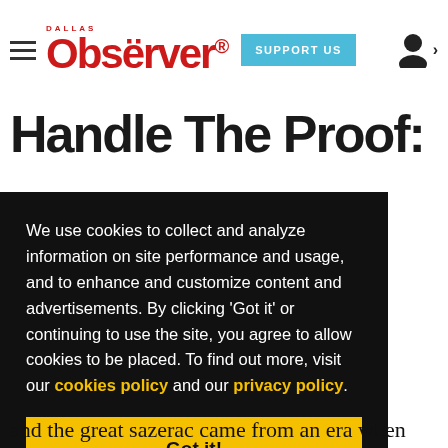[Figure (logo): Dallas Observer logo with hamburger menu and Support Us button and user icon]
Handle The Proof:
We use cookies to collect and analyze information on site performance and usage, and to enhance and customize content and advertisements. By clicking 'Got it' or continuing to use the site, you agree to allow cookies to be placed. To find out more, visit our cookies policy and our privacy policy.
Got it!
and the great sazerac came from an era when